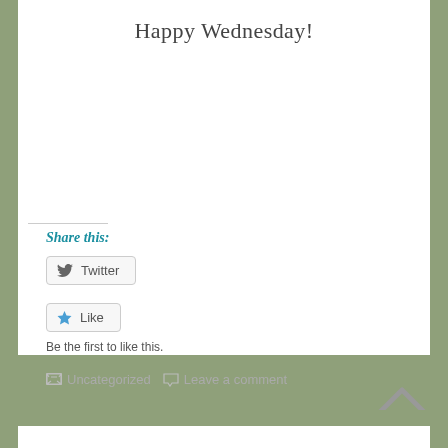Happy Wednesday!
Share this:
Twitter
Like
Be the first to like this.
Uncategorized   Leave a comment